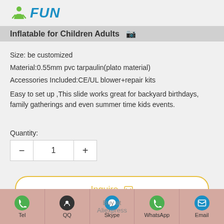[Figure (logo): iFUN brand logo with green person icon and blue italic text 'FUN']
Inflatable for Children Adults
Size: be customized
Material:0.55mm pvc tarpaulin(plato material)
Accessories Included:CE/UL blower+repair kits
Easy to set up ,This slide works great for backyard birthdays, family gatherings and even summer time kids events.
Quantity:
1
Inquire
Add to Basket
Tel | QQ | Skype | WhatsApp | Email